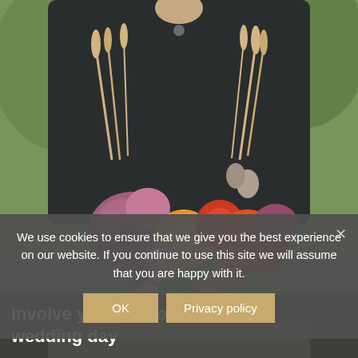[Figure (photo): Person holding a large bohemian-style bouquet of wildflowers including dried wheat, purple and pink blooms, orange dahlias, red flowers, and green leaves. Person is wearing a dark top and white skirt, photographed outdoors with a blurred green background.]
We use cookies to ensure that we give you the best experience on our website. If you continue to use this site we will assume that you are happy with it.
OK   Privacy policy
Involve y oo Boho wedding day